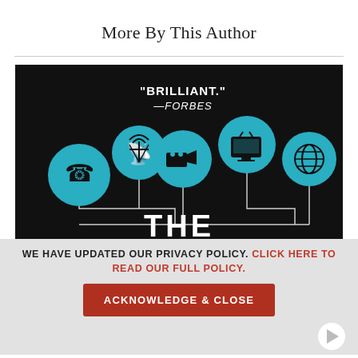More By This Author
[Figure (illustration): Book cover with black background featuring five cyan circular icons connected by white lines — telephone, radio tower, movie camera, television, and globe — with text 'BRILLIANT.' —FORBES at the top and partial title 'THE' at the bottom]
WE HAVE UPDATED OUR PRIVACY POLICY. CLICK HERE TO READ OUR FULL POLICY.
ACKNOWLEDGE & CLOSE